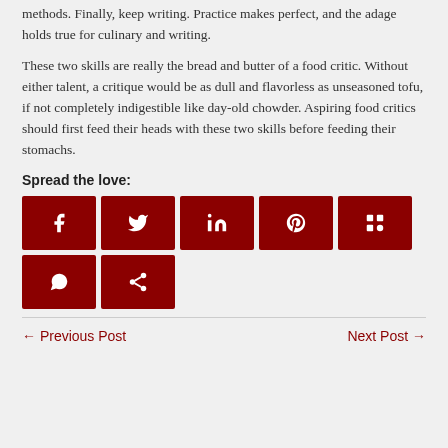methods. Finally, keep writing. Practice makes perfect, and the adage holds true for culinary and writing.
These two skills are really the bread and butter of a food critic. Without either talent, a critique would be as dull and flavorless as unseasoned tofu, if not completely indigestible like day-old chowder. Aspiring food critics should first feed their heads with these two skills before feeding their stomachs.
Spread the love:
[Figure (infographic): Social media share buttons: Facebook, Twitter, LinkedIn, Pinterest, Mix, WhatsApp, and a generic share button. All buttons are dark red/maroon colored with white icons.]
← Previous Post     Next Post →